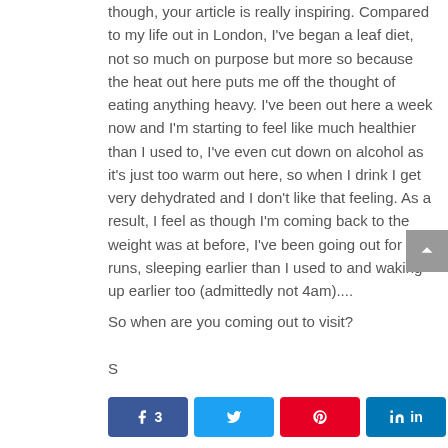though, your article is really inspiring. Compared to my life out in London, I've began a leaf diet, not so much on purpose but more so because the heat out here puts me off the thought of eating anything heavy. I've been out here a week now and I'm starting to feel like much healthier than I used to, I've even cut down on alcohol as it's just too warm out here, so when I drink I get very dehydrated and I don't like that feeling. As a result, I feel as though I'm coming back to the weight was at before, I've been going out for runs, sleeping earlier than I used to and waking up earlier too (admittedly not 4am)....
So when are you coming out to visit?
S
[Figure (photo): Partial image of green leaves or food, cropped at bottom of page]
3 SHARES (Facebook: 3, Twitter share, Pinterest share, LinkedIn share)